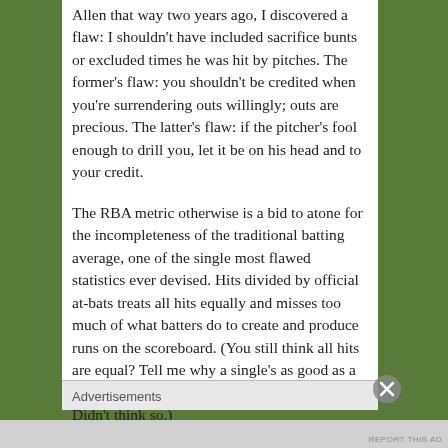Allen that way two years ago, I discovered a flaw: I shouldn't have included sacrifice bunts or excluded times he was hit by pitches. The former's flaw: you shouldn't be credited when you're surrendering outs willingly; outs are precious. The latter's flaw: if the pitcher's fool enough to drill you, let it be on his head and to your credit.
The RBA metric otherwise is a bid to atone for the incompleteness of the traditional batting average, one of the single most flawed statistics ever devised. Hits divided by official at-bats treats all hits equally and misses too much of what batters do to create and produce runs on the scoreboard. (You still think all hits are equal? Tell me why a single's as good as a double, triple, or home run and vice versa. Didn't think so.)
My RBA adds total bases (which treats hits the unequal
Advertisements